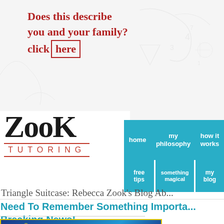[Figure (screenshot): Handwritten promotional text in red on light background: 'Does this describe you and your family? click here' with 'here' in a hand-drawn box. Background has faint math/doodle sketches.]
[Figure (logo): Zook Tutoring logo — 'ZOOK' in large hand-drawn style font, 'TUTORING' in red spaced capitals below with red underlines on top and bottom.]
home | my philosophy | how it works | free tips | something magical | my blog
Triangle Suitcase: Rebecca Zook's Blog Ab...
Need To Remember Something Importa... Breaking News!
[Figure (photo): Bottom partial image showing dark blue/gold tones, partially visible at bottom of page.]